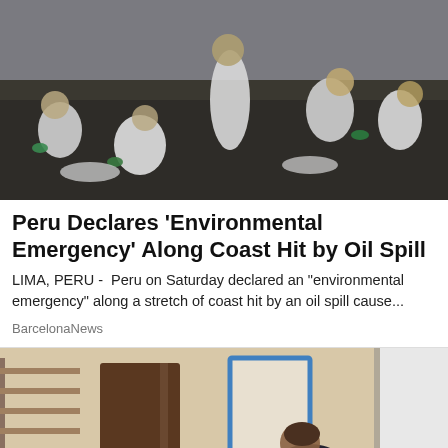[Figure (photo): Workers in white hazmat suits and green gloves cleaning up oil on a dark beach]
Peru Declares 'Environmental Emergency' Along Coast Hit by Oil Spill
LIMA, PERU -  Peru on Saturday declared an "environmental emergency" along a stretch of coast hit by an oil spill cause...
BarcelonaNews
[Figure (photo): Person in dark clothes working with yellow hoses and blue fans inside a damaged building]